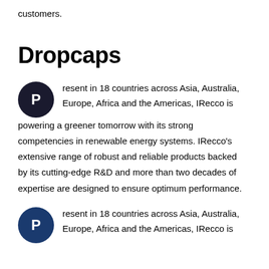customers.
Dropcaps
Present in 18 countries across Asia, Australia, Europe, Africa and the Americas, IRecco is powering a greener tomorrow with its strong competencies in renewable energy systems. IRecco's extensive range of robust and reliable products backed by its cutting-edge R&D and more than two decades of expertise are designed to ensure optimum performance.
Present in 18 countries across Asia, Australia, Europe, Africa and the Americas, IRecco is